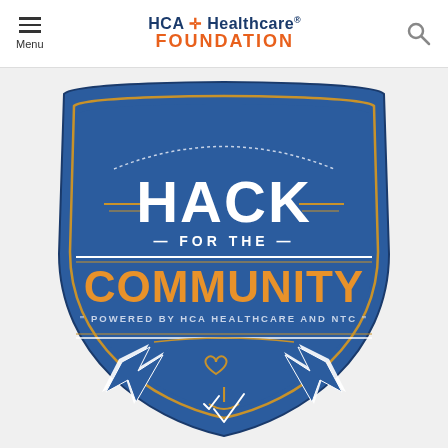Menu | HCA Healthcare FOUNDATION
[Figure (logo): Hack for the Community badge/shield logo - blue shield shape with white text 'HACK FOR THE' and orange text 'COMMUNITY', subtitle 'POWERED BY HCA HEALTHCARE AND NTC', with lightning bolts and heart/hands icon at bottom]